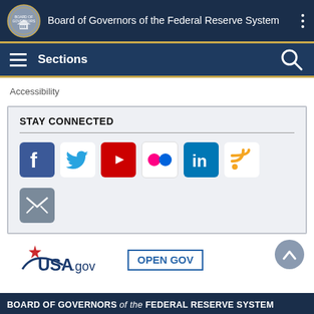Board of Governors of the Federal Reserve System
Sections
Accessibility
STAY CONNECTED
[Figure (screenshot): Social media icons: Facebook, Twitter, YouTube, Flickr, LinkedIn, RSS, Email]
[Figure (logo): USA.gov logo and OPEN GOV badge]
BOARD OF GOVERNORS of the FEDERAL RESERVE SYSTEM